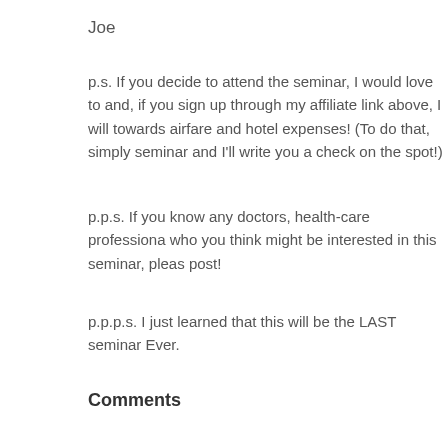Joe
p.s. If you decide to attend the seminar, I would love to and, if you sign up through my affiliate link above, I will towards airfare and hotel expenses! (To do that, simply seminar and I'll write you a check on the spot!)
p.p.s. If you know any doctors, health-care professiona who you think might be interested in this seminar, pleas post!
p.p.p.s. I just learned that this will be the LAST seminar Ever.
Comments
comments
Joe, contributor